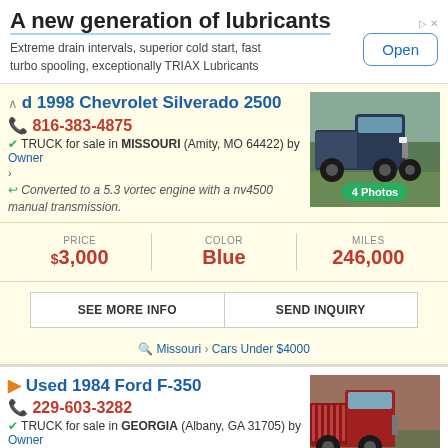A new generation of lubricants — Extreme drain intervals, superior cold start, fast turbo spooling, exceptionally TRIAX Lubricants — Open
Used 1998 Chevrolet Silverado 2500
816-383-4875
TRUCK for sale in MISSOURI (Amity, MO 64422) by Owner
Converted to a 5.3 vortec engine with a nv4500 manual transmission.
[Figure (photo): Blue 1998 Chevrolet Silverado 2500 truck parked outdoors, 4 Photos]
PRICE $3,000 | COLOR Blue | MILES 246,000
SEE MORE INFO | SEND INQUIRY
Missouri > Cars Under $4000
Used 1984 Ford F-350
229-603-3282
TRUCK for sale in GEORGIA (Albany, GA 31705) by Owner
[Figure (photo): Red 1984 Ford F-350 truck, Top badge visible]